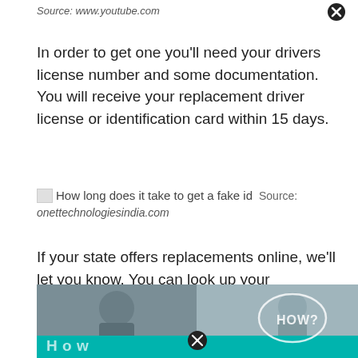Source: www.youtube.com
In order to get one you'll need your drivers license number and some documentation. You will receive your replacement driver license or identification card within 15 days.
[Figure (photo): Thumbnail image placeholder followed by caption text: 'How long does it take to get a fake id' with source label 'onettechnologiesindia.com']
If your state offers replacements online, we'll let you know. You can look up your application status online or contact the customer contact center at 850.487.1395.
[Figure (photo): Bottom partial photo showing two people with a teal/turquoise banner at the bottom and a 'HOW?' speech bubble overlay. A close/X button is visible.]